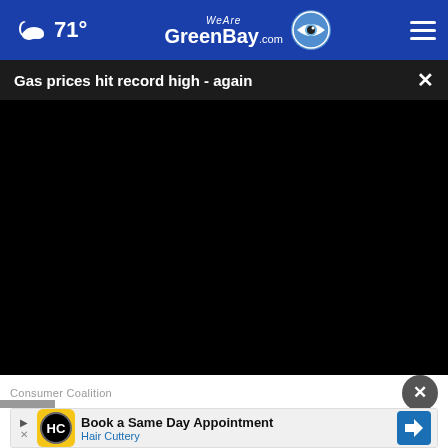71° WeAreGreenBay.com
Gas prices hit record high - again
[Figure (screenshot): Black video player area]
Consumer Coalition
[Figure (infographic): Advertisement: Book a Same Day Appointment - Hair Cuttery with HC logo and navigation arrow icon]